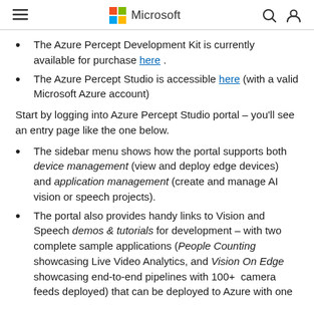Microsoft
The Azure Percept Development Kit is currently available for purchase here .
The Azure Percept Studio is accessible here (with a valid Microsoft Azure account)
Start by logging into Azure Percept Studio portal – you'll see an entry page like the one below.
The sidebar menu shows how the portal supports both device management (view and deploy edge devices) and application management (create and manage AI vision or speech projects).
The portal also provides handy links to Vision and Speech demos & tutorials for development – with two complete sample applications (People Counting showcasing Live Video Analytics, and Vision On Edge showcasing end-to-end pipelines with 100+ camera feeds deployed) that can be deployed to Azure with one